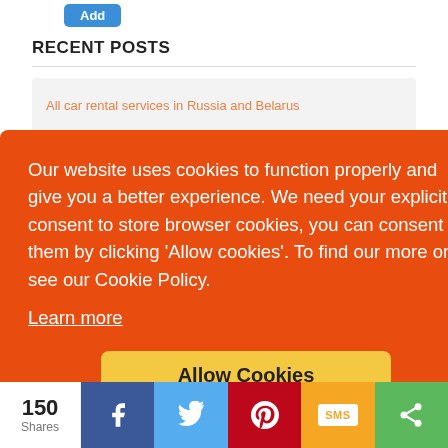[Figure (screenshot): Blue 'Add' button at top left]
RECENT POSTS
[Figure (screenshot): Recent post card with link 'All car rental services in Russia and Belarus']
Our website uses cookies to function properly and give you a better experience. We need your explicit consent to store browser cookies, you can consent to them by clicking 'Allow cookies'. To find our more or see our Cookie Policy.
Learn more
Allow Cookies
150 Shares